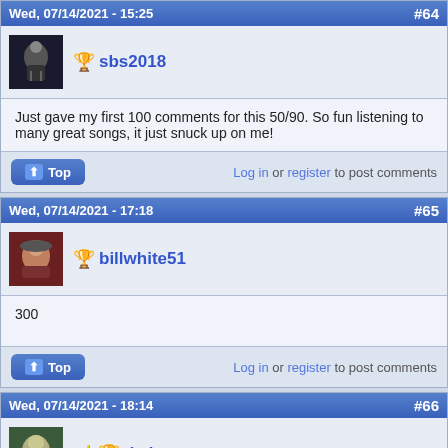Wed, 07/14/2021 - 15:25  #64
🏆 sbs2018
Just gave my first 100 comments for this 50/90. So fun listening to many great songs, it just snuck up on me!
Log in or register to post comments
Wed, 07/14/2021 - 17:18  #65
🏆 billwhite51
300
Log in or register to post comments
Wed, 07/14/2021 - 18:14  #66
🤘🏆 dzd